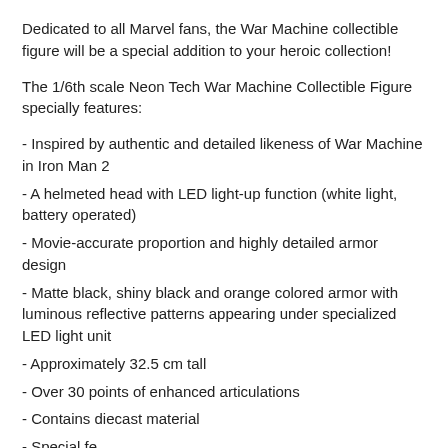Dedicated to all Marvel fans, the War Machine collectible figure will be a special addition to your heroic collection!
The 1/6th scale Neon Tech War Machine Collectible Figure specially features:
- Inspired by authentic and detailed likeness of War Machine in Iron Man 2
- A helmeted head with LED light-up function (white light, battery operated)
- Movie-accurate proportion and highly detailed armor design
- Matte black, shiny black and orange colored armor with luminous reflective patterns appearing under specialized LED light unit
- Approximately 32.5 cm tall
- Over 30 points of enhanced articulations
- Contains diecast material
- Special features...